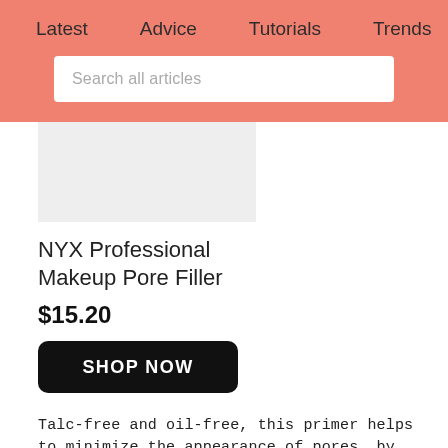Latest   Advice   Tutorials   Trends   Discover
Search all articles
[Figure (photo): Light gray product image placeholder rectangle]
NYX Professional Makeup Pore Filler
$15.20
SHOP NOW
Talc-free and oil-free, this primer helps to minimize the appearance of pores, by smoothing over the skin and drying to a matte finish.